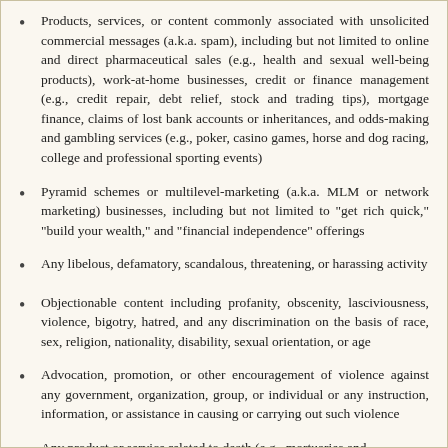Products, services, or content commonly associated with unsolicited commercial messages (a.k.a. spam), including but not limited to online and direct pharmaceutical sales (e.g., health and sexual well-being products), work-at-home businesses, credit or finance management (e.g., credit repair, debt relief, stock and trading tips), mortgage finance, claims of lost bank accounts or inheritances, and odds-making and gambling services (e.g., poker, casino games, horse and dog racing, college and professional sporting events)
Pyramid schemes or multilevel-marketing (a.k.a. MLM or network marketing) businesses, including but not limited to "get rich quick," "build your wealth," and "financial independence" offerings
Any libelous, defamatory, scandalous, threatening, or harassing activity
Objectionable content including profanity, obscenity, lasciviousness, violence, bigotry, hatred, and any discrimination on the basis of race, sex, religion, nationality, disability, sexual orientation, or age
Advocation, promotion, or other encouragement of violence against any government, organization, group, or individual or any instruction, information, or assistance in causing or carrying out such violence
Any product or service related to death (e.g., mortuaries and